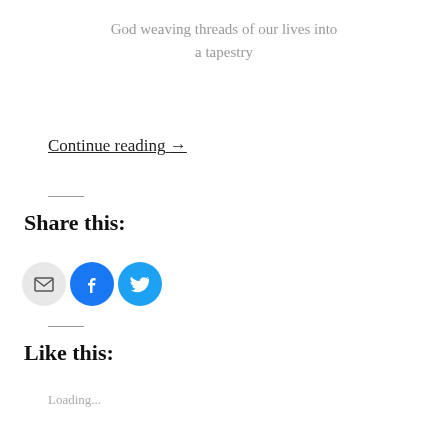God weaving threads of our lives into a tapestry
Continue reading →
Share this:
[Figure (infographic): Three circular share buttons: email (grey), Facebook (blue), Twitter (light blue)]
Like this:
Loading...